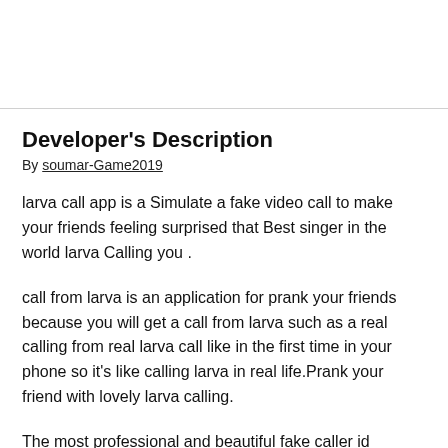Developer's Description
By soumar-Game2019
larva call app is a Simulate a fake video call to make your friends feeling surprised that Best singer in the world larva Calling you .
call from larva is an application for prank your friends because you will get a call from larva such as a real calling from real larva call like in the first time in your phone so it's like calling larva in real life.Prank your friend with lovely larva calling.
The most professional and beautiful fake caller id